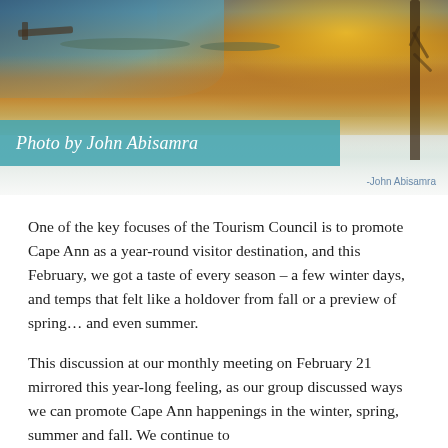[Figure (photo): Winter coastal scene with snow-covered reeds, golden sunset sky reflected in water, a dock on the left, a bare tree on the right, and text caption overlay reading 'Photo by John Abisamra']
Photo by John Abisamra
One of the key focuses of the Tourism Council is to promote Cape Ann as a year-round visitor destination, and this February, we got a taste of every season – a few winter days, and temps that felt like a holdover from fall or a preview of spring… and even summer.
This discussion at our monthly meeting on February 21 mirrored this year-long feeling, as our group discussed ways we can promote Cape Ann happenings in the winter, spring, summer and fall. We continue to